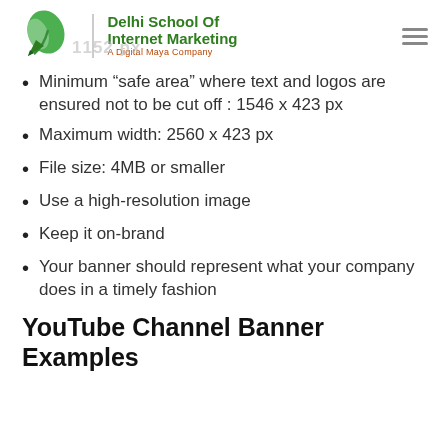Delhi School Of Internet Marketing — A Digital Maya Company
Minimum “safe area” where text and logos are ensured not to be cut off : 1546 x 423 px
Maximum width: 2560 x 423 px
File size: 4MB or smaller
Use a high-resolution image
Keep it on-brand
Your banner should represent what your company does in a timely fashion
YouTube Channel Banner Examples